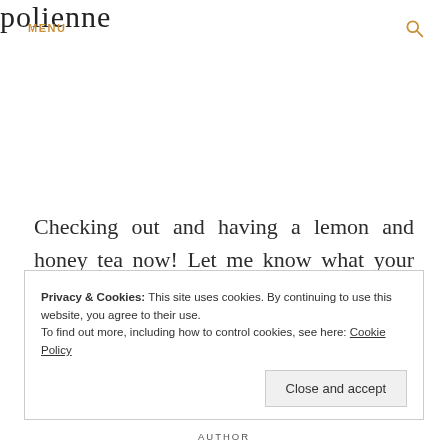MENU  polienne  🔍
Checking out and having a lemon and honey tea now! Let me know what your favourite outfit is, and see you soon!
Privacy & Cookies: This site uses cookies. By continuing to use this website, you agree to their use.
To find out more, including how to control cookies, see here: Cookie Policy
Close and accept
AUTHOR